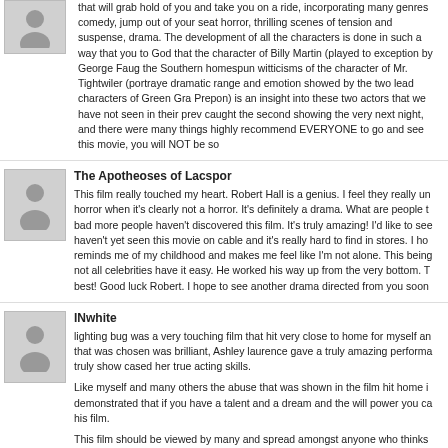that will grab hold of you and take you on a ride, incorporating many genres comedy, jump out of your seat horror, thrilling scenes of tension and suspense, drama. The development of all the characters is done in such a way that you to God that the character of Billy Martin (played to exception by George Faug the Southern homespun witticisms of the character of Mr. Tightwiler (portraye dramatic range and emotion showed by the two lead characters of Green Gra Prepon) is an insight into these two actors that we have not seen in their prev caught the second showing the very next night, and there were many things highly recommend EVERYONE to go and see this movie, you will NOT be so
[Figure (illustration): User avatar placeholder - grey silhouette icon]
The Apotheoses of Lacspor
This film really touched my heart. Robert Hall is a genius. I feel they really un horror when it's clearly not a horror. It's definitely a drama. What are people t bad more people haven't discovered this film. It's truly amazing! I'd like to see haven't yet seen this movie on cable and it's really hard to find in stores. I ho reminds me of my childhood and makes me feel like I'm not alone. This being not all celebrities have it easy. He worked his way up from the very bottom. T best! Good luck Robert. I hope to see another drama directed from you soon
[Figure (illustration): User avatar placeholder - grey silhouette icon]
INwhite
lighting bug was a very touching film that hit very close to home for myself an that was chosen was brilliant, Ashley laurence gave a truly amazing performa truly show cased her true acting skills.
Like myself and many others the abuse that was shown in the film hit home i demonstrated that if you have a talent and a dream and the will power you ca his film.
This film should be viewed by many and spread amongst anyone who thinks too hard.
[Figure (illustration): User avatar placeholder - grey silhouette icon]
Arashilkis
for relatively novice writer/director Robert Hall and producer Laura Prepon et this film at Philly film festival and was amazed at the depth of plot and level o themes being a little cliché or overdone. i recommended the film to all my frie the film was its limited release, but that's the name of the game in the film